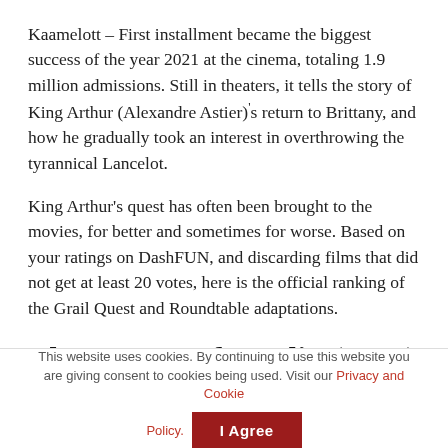Kaamelott – First installment became the biggest success of the year 2021 at the cinema, totaling 1.9 million admissions. Still in theaters, it tells the story of King Arthur (Alexandre Astier)'s return to Brittany, and how he gradually took an interest in overthrowing the tyrannical Lancelot.
King Arthur's quest has often been brought to the movies, for better and sometimes for worse. Based on your ratings on DashFUN, and discarding films that did not get at least 20 votes, here is the official ranking of the Grail Quest and Roundtable adaptations.
The Return of Merlin (2000)
This website uses cookies. By continuing to use this website you are giving consent to cookies being used. Visit our Privacy and Cookie Policy.